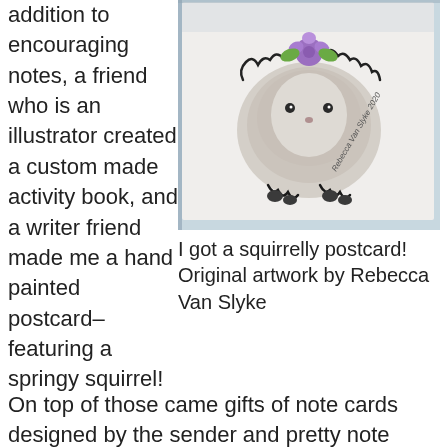addition to encouraging notes, a friend who is an illustrator created a custom made activity book, and a writer friend made me a hand painted postcard– featuring a springy squirrel!
[Figure (illustration): Hand-painted squirrel postcard illustration showing a fluffy squirrel with a purple flower, outlined in black ink, with a signature 'Rebecca Van Slyke 2020']
I got a squirrelly postcard! Original artwork by Rebecca Van Slyke
On top of those came gifts of note cards designed by the sender and pretty note paper (Mmmm. I do love paper.) Even my cat, Finny, received a kind card with a birdy on it and catnip tucked inside. As you can imagine, being the recipient of all that sweetness pumped helium into my